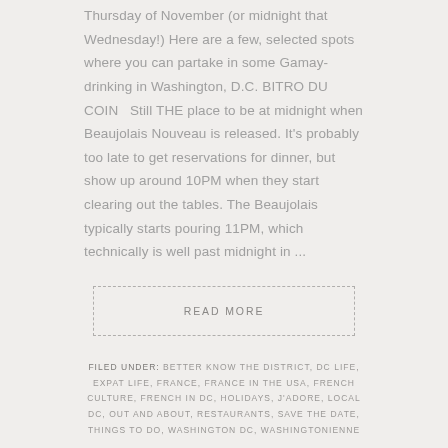Thursday of November (or midnight that Wednesday!) Here are a few, selected spots where you can partake in some Gamay-drinking in Washington, D.C. BITRO DU COIN   Still THE place to be at midnight when Beaujolais Nouveau is released. It's probably too late to get reservations for dinner, but show up around 10PM when they start clearing out the tables. The Beaujolais typically starts pouring 11PM, which technically is well past midnight in ...
READ MORE
FILED UNDER: BETTER KNOW THE DISTRICT, DC LIFE, EXPAT LIFE, FRANCE, FRANCE IN THE USA, FRENCH CULTURE, FRENCH IN DC, HOLIDAYS, J'ADORE, LOCAL DC, OUT AND ABOUT, RESTAURANTS, SAVE THE DATE, THINGS TO DO, WASHINGTON DC, WASHINGTONIENNE